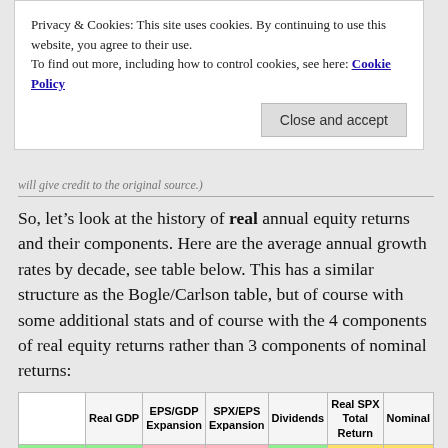Privacy & Cookies: This site uses cookies. By continuing to use this website, you agree to their use.
To find out more, including how to control cookies, see here: Cookie Policy
Close and accept
will give credit to the original source.)
So, let’s look at the history of real annual equity returns and their components. Here are the average annual growth rates by decade, see table below. This has a similar structure as the Bogle/Carlson table, but of course with some additional stats and of course with the 4 components of real equity returns rather than 3 components of nominal returns:
|  | Real GDP | EPS/GDP Expansion | SPX/EPS Expansion | Dividends | Real SPX Total Return | Nominal |
| --- | --- | --- | --- | --- | --- | --- |
| 1871-1879 | ... | ... | ... | ... | ... | ... |